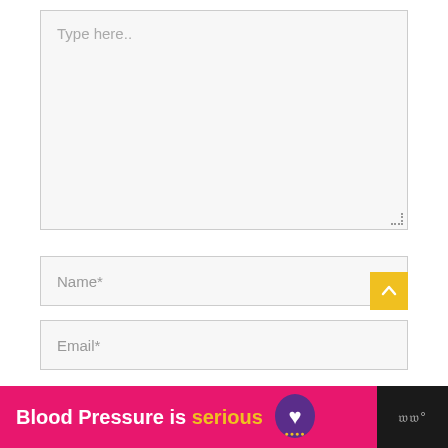Type here..
Name*
Email*
[Figure (infographic): Pink banner with text 'Blood Pressure is serious' with a purple heart logo and site logo on dark background]